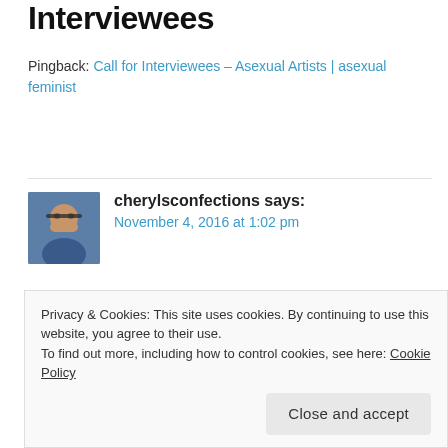Interviewees
Pingback: Call for Interviewees – Asexual Artists | asexual feminist
cherylsconfections says: November 4, 2016 at 1:02 pm
Just shared this! Thanks for sending out the call.
★ Like
Privacy & Cookies: This site uses cookies. By continuing to use this website, you agree to their use.
To find out more, including how to control cookies, see here: Cookie Policy
Close and accept